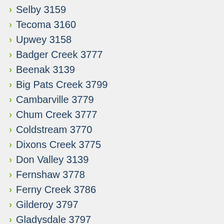Selby 3159
Tecoma 3160
Upwey 3158
Badger Creek 3777
Beenak 3139
Big Pats Creek 3799
Cambarville 3779
Chum Creek 3777
Coldstream 3770
Dixons Creek 3775
Don Valley 3139
Fernshaw 3778
Ferny Creek 3786
Gilderoy 3797
Gladysdale 3797
Gruyere 3770
Healesville 3777
Hoddles Creek 3139
Kallista 3791